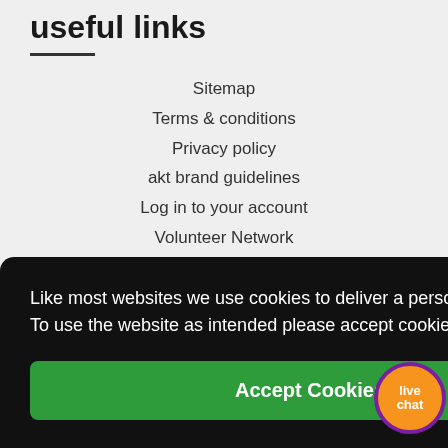useful links
Sitemap
Terms & conditions
Privacy policy
akt brand guidelines
Log in to your account
Volunteer Network
My details
Like most websites we use cookies to deliver a personalised service. To use the website as intended please accept cookies.
Accept Cookies